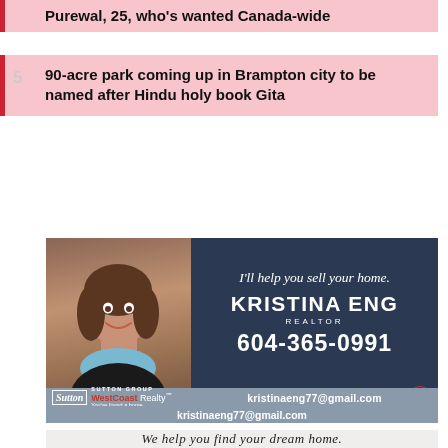Purewal, 25, who's wanted Canada-wide
5  90-acre park coming up in Brampton city to be named after Hindu holy book Gita
[Figure (photo): Real estate advertisement for Kristina Eng, Realtor. Shows a smiling woman with brown hair against a dark navy background. Text includes: 'I'll help you sell your home.', 'KRISTINA ENG REALTOR', '604-365-0991', 'Sutton Group WestCoast Realty - You've found a home', 'kristinaeng77@gmail.com']
[Figure (photo): Bottom portion of another real estate advertisement with cursive text: 'We help you find your dream home.']